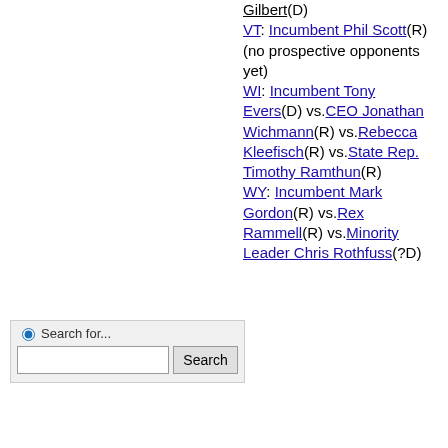Gilbert(D) VT: Incumbent Phil Scott(R) (no prospective opponents yet) WI: Incumbent Tony Evers(D) vs.CEO Jonathan Wichmann(R) vs.Rebecca Kleefisch(R) vs.State Rep. Timothy Ramthun(R) WY: Incumbent Mark Gordon(R) vs.Rex Rammell(R) vs.Minority Leader Chris Rothfuss(?D)
[Figure (other): Search widget with radio button labeled 'Search for...', a text input field, and a Search button]